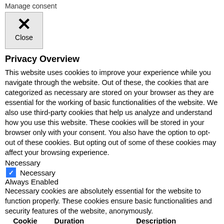Manage consent
[Figure (other): Close button with X icon and 'Close' label]
Privacy Overview
This website uses cookies to improve your experience while you navigate through the website. Out of these, the cookies that are categorized as necessary are stored on your browser as they are essential for the working of basic functionalities of the website. We also use third-party cookies that help us analyze and understand how you use this website. These cookies will be stored in your browser only with your consent. You also have the option to opt-out of these cookies. But opting out of some of these cookies may affect your browsing experience.
Necessary
✓ Necessary
Always Enabled
Necessary cookies are absolutely essential for the website to function properly. These cookies ensure basic functionalities and security features of the website, anonymously.
| Cookie | Duration | Description |
| --- | --- | --- |
|  |  | This cookie is set by GDPR |
This cookie is set by GDPR